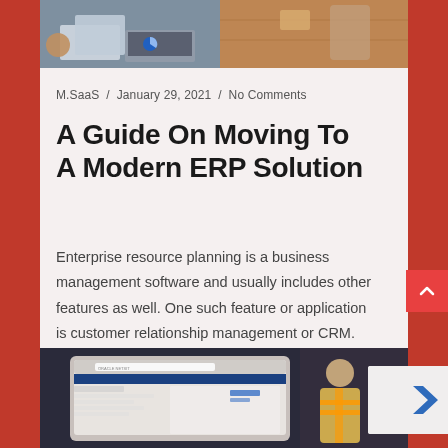[Figure (photo): Top banner image showing two photos side by side: left shows hands holding financial documents near a laptop, right shows a wooden desk surface]
M.SaaS / January 29, 2021 / No Comments
A Guide On Moving To A Modern ERP Solution
Enterprise resource planning is a business management software and usually includes other features as well. One such feature or application is customer relationship management or CRM. CRM is a software.
Read More
[Figure (screenshot): Bottom image showing a laptop screen with Oracle ERP software interface, with a worker in safety vest visible on the right side]